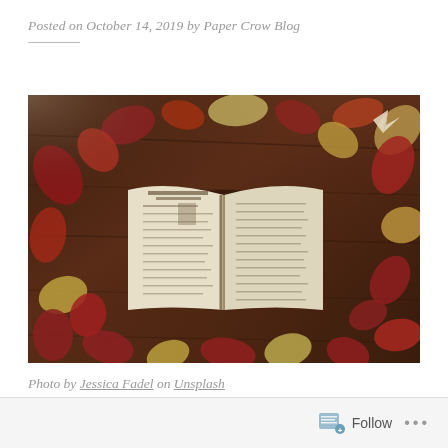Posted on October 14, 2019 by Paper Crow Blog
[Figure (photo): Open antique book surrounded by autumn leaves (red and yellow maple leaves) arranged in a heart shape on a dark wooden surface. Photo by Jessica Fadel on Unsplash.]
Photo by Jessica Fadel on Unsplash